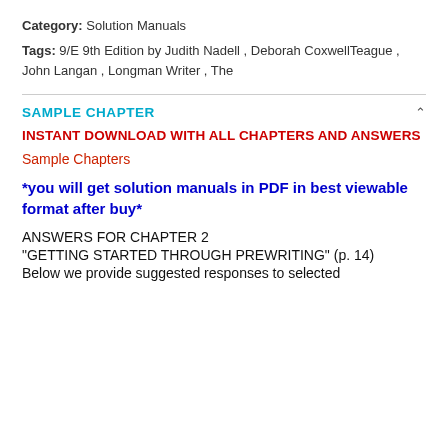Category: Solution Manuals
Tags: 9/E 9th Edition by Judith Nadell , Deborah CoxwellTeague , John Langan , Longman Writer , The
SAMPLE CHAPTER
INSTANT DOWNLOAD WITH ALL CHAPTERS AND ANSWERS
Sample Chapters
*you will get solution manuals in PDF in best viewable format after buy*
ANSWERS FOR CHAPTER 2
"GETTING STARTED THROUGH PREWRITING" (p. 14)
Below we provide suggested responses to selected